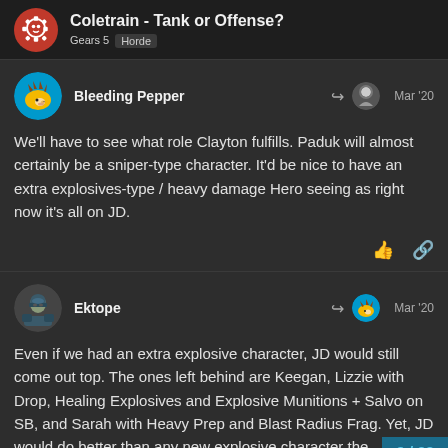Coletrain - Tank or Offense? | Gears 5 | Horde
Bleeding Pepper — Mar '20
We'll have to see what role Clayton fulfills. Paduk will almost certainly be a sniper-type character. It'd be nice to have an extra explosives-type / heavy damage Hero seeing as right now it's all on JD.
Ektope — Mar '20
Even if we had an extra explosive character, JD would still come out top. The ones left behind are Keegan, Lizzie with Drop, Healing Explosives and Explosive Munitions + Salvo on SB, and Sarah with Heavy Prep and Blast Radius Frag. Yet, JD would do better than any new explosive character the